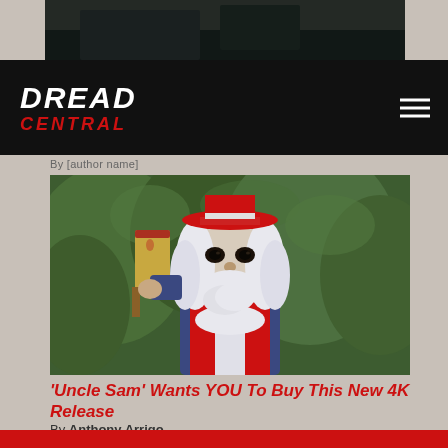[Figure (screenshot): Dark top strip showing a partial screenshot of a dimly lit scene]
DREAD CENTRAL
By [author name cropped]
[Figure (photo): A horror character dressed as Uncle Sam with white hair, red hat, pale makeup, and holding a cleaver, standing in front of green foliage]
'Uncle Sam' Wants YOU To Buy This New 4K Release
By Anthony Arrigo